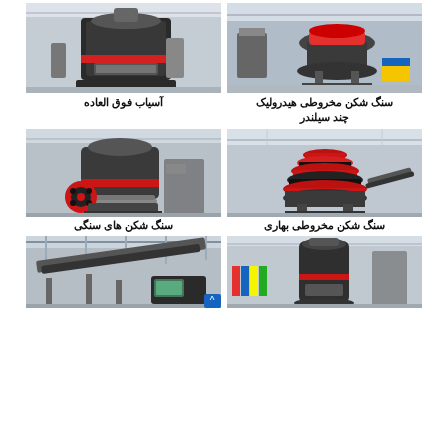[Figure (photo): Industrial crushing machine (cone crusher) in a factory setting, gray metal machinery]
سنگ شکن مخروطی هیدرولیک چند سیلندر
[Figure (photo): Industrial ball mill / super fine grinder machine in factory]
آسیاب فوق العاده
[Figure (photo): Large cone/spring crusher industrial machine with red and black parts in warehouse]
سنگ شکن مخروطی بهاری
[Figure (photo): Industrial rock crusher / hammer mill equipment in factory]
سنگ شکن های سنگی
[Figure (photo): Vertical mill grinding machine in large industrial factory hall]
[Figure (photo): Industrial conveyor belt and crushing/screening production line equipment]